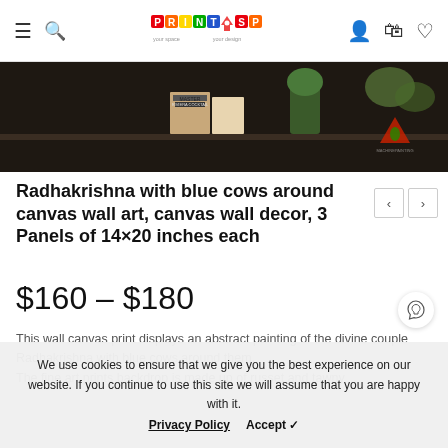PrintSpace navigation bar with logo, menu, search, cart, wishlist icons
[Figure (photo): Dark product photo showing a shelf with books including 'Riviera Cocktail' and decorative items in a dimly lit room setting]
Radhakrishna with blue cows around canvas wall art, canvas wall decor, 3 Panels of 14×20 inches each
$160 – $180
This wall canvas print displays an abstract painting of the divine couple Radhakrishna with blue cows around them. The fine art prints backdrop is made up of russet and tawny
We use cookies to ensure that we give you the best experience on our website. If you continue to use this site we will assume that you are happy with it. Privacy Policy Accept ✓